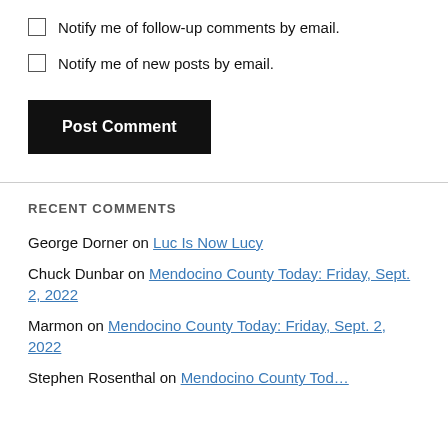Notify me of follow-up comments by email.
Notify me of new posts by email.
Post Comment
RECENT COMMENTS
George Dorner on Luc Is Now Lucy
Chuck Dunbar on Mendocino County Today: Friday, Sept. 2, 2022
Marmon on Mendocino County Today: Friday, Sept. 2, 2022
Stephen Rosenthal on Mendocino County Today…